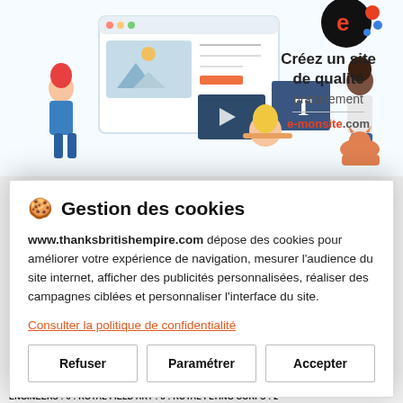[Figure (illustration): Advertisement banner for e-monsite.com showing cartoon people building a website, with text 'Créez un site de qualité gratuitement e-monsite.com' and an 'e' logo.]
🍪 Gestion des cookies
www.thanksbritishempire.com dépose des cookies pour améliorer votre expérience de navigation, mesurer l'audience du site internet, afficher des publicités personnalisées, réaliser des campagnes ciblées et personnaliser l'interface du site.
Consulter la politique de confidentialité
Refuser
Paramétrer
Accepter
BERKSHIRE : 3 : ROYAL DUBLIN FUSILIERS : 3 : ROYAL ENGINEERS : 6 : ROYAL FIELD ART : 8 : ROYAL FLYING CORPS : 2